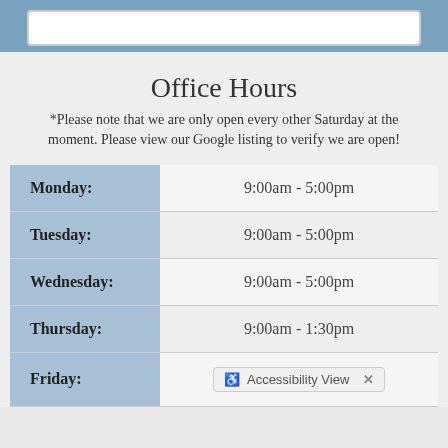Office Hours
*Please note that we are only open every other Saturday at the moment. Please view our Google listing to verify we are open!
| Day | Hours |
| --- | --- |
| Monday: | 9:00am - 5:00pm |
| Tuesday: | 9:00am - 5:00pm |
| Wednesday: | 9:00am - 5:00pm |
| Thursday: | 9:00am - 1:30pm |
| Friday: | 9:00am - 5:00pm |